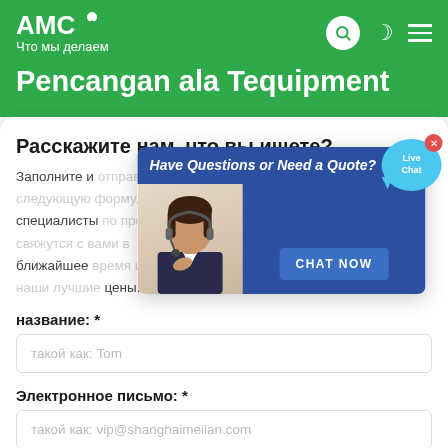AMC — Что мы делаем
Pencangan ala Tequipment
Расскажите нам, что вы ищете?
Заполните и отправьте следующую форму, и наши специалисты по продажам свяжутся с вами в ближайшее время и сообщат наши лучшие цены.
[Figure (screenshot): Live chat popup with customer service representative image, header 'Have Questions or Need a Quote?', CHAT NOW button, and Live Chat bubble in top right]
название: *
такой как: Tom
Электронное письмо: *
такой как: vip@shanghaimeilan.com
Телефон: *